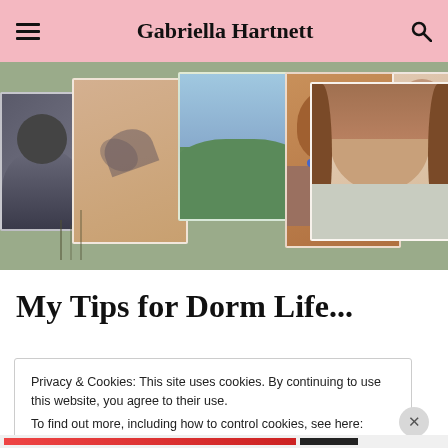Gabriella Hartnett
[Figure (photo): Hero banner showing a photo collage of personal images including a dog, a tattoo, outdoor scenery, a brown dog with blue collar, a young woman with long brown hair, and autumn trees, on a sage green background.]
My Tips for Dorm Life...
Privacy & Cookies: This site uses cookies. By continuing to use this website, you agree to their use.
To find out more, including how to control cookies, see here: Cookie Policy
Close and accept